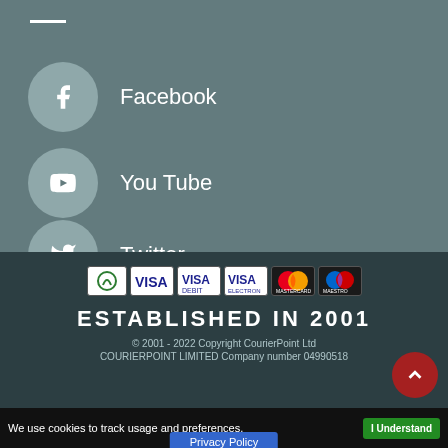Facebook
You Tube
Twitter
[Figure (infographic): Payment card logos: Sage Pay, VISA, VISA Debit, VISA Electron, Mastercard, Maestro]
ESTABLISHED IN 2001
© 2001 - 2022 Copyright CourierPoint Ltd
COURIERPOINT LIMITED Company number 04990518
We use cookies to track usage and preferences.
I Understand
Privacy Policy